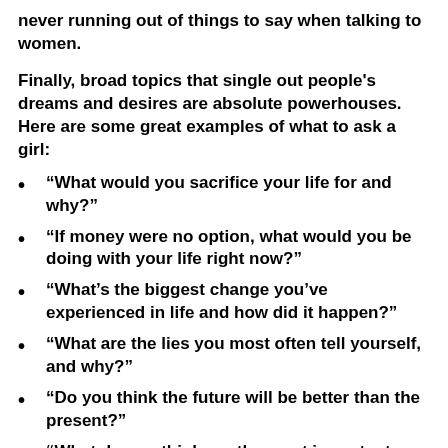never running out of things to say when talking to women.
Finally, broad topics that single out people's dreams and desires are absolute powerhouses. Here are some great examples of what to ask a girl:
“What would you sacrifice your life for and why?”
“If money were no option, what would you be doing with your life right now?”
“What’s the biggest change you’ve experienced in life and how did it happen?”
“What are the lies you most often tell yourself, and why?”
“Do you think the future will be better than the present?”
“What do you think are the most important things in a